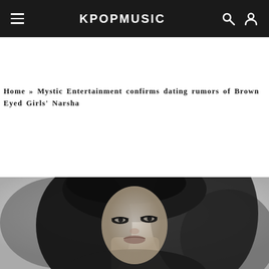KPOPMUSIC
Home » Mystic Entertainment confirms dating rumors of Brown Eyed Girls' Narsha
[Figure (photo): Black and white photo of Brown Eyed Girls member Narsha with flowing dark hair, dramatic eye makeup, looking toward camera]